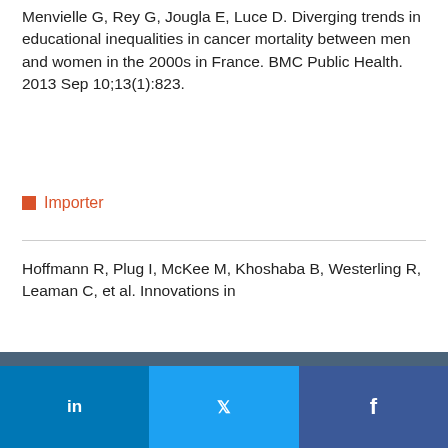Menvielle G, Rey G, Jougla E, Luce D. Diverging trends in educational inequalities in cancer mortality between men and women in the 2000s in France. BMC Public Health. 2013 Sep 10;13(1):823.
Importer
Hoffmann R, Plug I, McKee M, Khoshaba B, Westerling R, Leaman C, et al. Innovations in...
Nous utilisons des cookies sur ce site pour améliorer votre expérience d'utilisateur.
En cliquant sur un lien de cette page, vous nous donnez votre consentement de définir des cookies.
Oui, je suis d'accord
Plus d'infos
in  Twitter  f